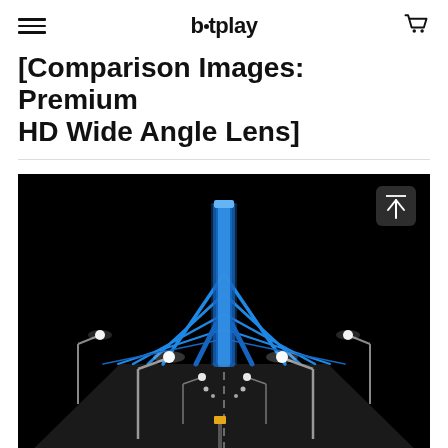bitplay
[Comparison Images: Premium HD Wide Angle Lens]
[Figure (photo): Night photograph of a cable-stayed bridge illuminated in blue LED lights, with street lamps lining the road leading to the bridge tower. The sky is black and the road surface is visible in the foreground.]